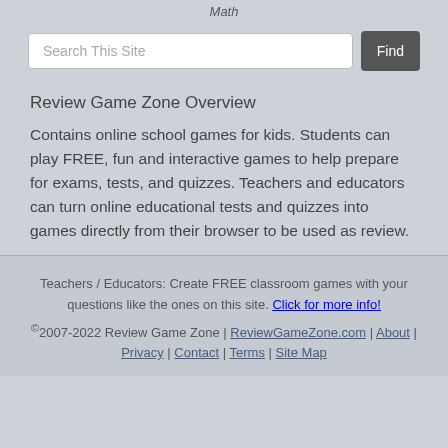Math
Review Game Zone Overview
Contains online school games for kids. Students can play FREE, fun and interactive games to help prepare for exams, tests, and quizzes. Teachers and educators can turn online educational tests and quizzes into games directly from their browser to be used as review.
Teachers / Educators: Create FREE classroom games with your questions like the ones on this site. Click for more info! ©2007-2022 Review Game Zone | ReviewGameZone.com | About | Privacy | Contact | Terms | Site Map